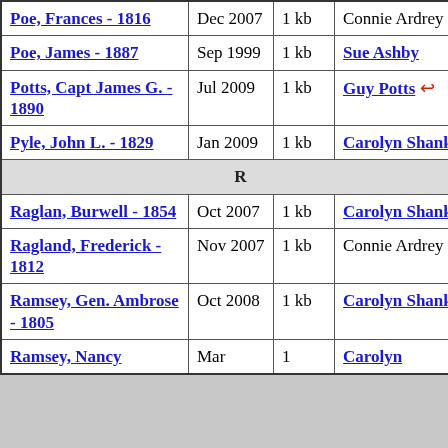| Name | Date | Size | Submitter |
| --- | --- | --- | --- |
| Poe, Frances - 1816 | Dec 2007 | 1 kb | Connie Ardrey |
| Poe, James - 1887 | Sep 1999 | 1 kb | Sue Ashby |
| Potts, Capt James G. - 1890 | Jul 2009 | 1 kb | Guy Potts ↵ |
| Pyle, John L. - 1829 | Jan 2009 | 1 kb | Carolyn Shank |
| R |  |  |  |
| Raglan, Burwell - 1854 | Oct 2007 | 1 kb | Carolyn Shank |
| Ragland, Frederick - 1812 | Nov 2007 | 1 kb | Connie Ardrey |
| Ramsey, Gen. Ambrose - 1805 | Oct 2008 | 1 kb | Carolyn Shank |
| Ramsey, Nancy | Mar | 1 | Carolyn |